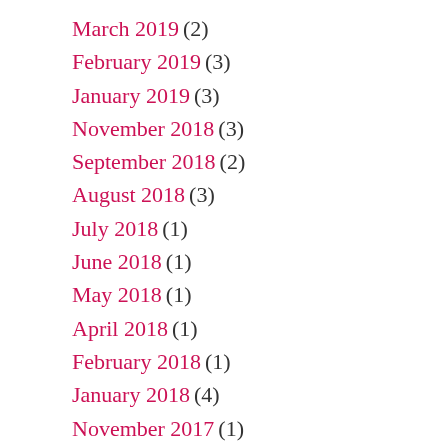March 2019 (2)
February 2019 (3)
January 2019 (3)
November 2018 (3)
September 2018 (2)
August 2018 (3)
July 2018 (1)
June 2018 (1)
May 2018 (1)
April 2018 (1)
February 2018 (1)
January 2018 (4)
November 2017 (1)
September 2017 (1)